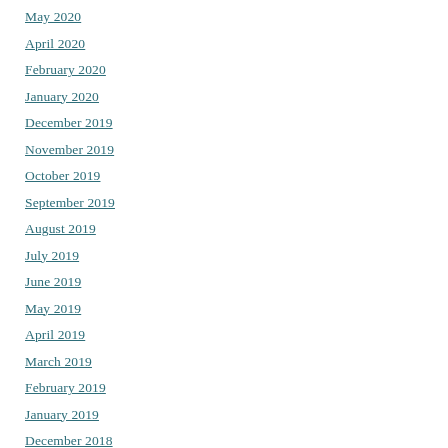May 2020
April 2020
February 2020
January 2020
December 2019
November 2019
October 2019
September 2019
August 2019
July 2019
June 2019
May 2019
April 2019
March 2019
February 2019
January 2019
December 2018
November 2018
October 2018